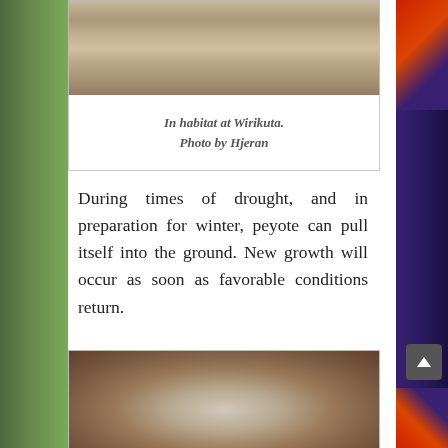[Figure (photo): Close-up photo of rocky/sandy desert soil at Wirikuta habitat, showing tan and brown rocky ground texture.]
In habitat at Wirikuta.
Photo by Hjeran
During times of drought, and in preparation for winter, peyote can pull itself into the ground. New growth will occur as soon as favorable conditions return.
[Figure (photo): Close-up photograph of peyote cactus pulled into rocky ground, showing the grey-green button of the cactus surrounded by small rocks and soil debris.]